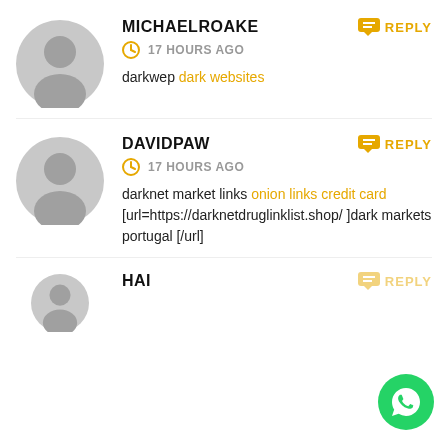MICHAELROAKE
17 HOURS AGO
darkwep dark websites
DAVIDPAW
17 HOURS AGO
darknet market links onion links credit card [url=https://darknetdruglinklist.shop/ ]dark markets portugal [/url]
HAI